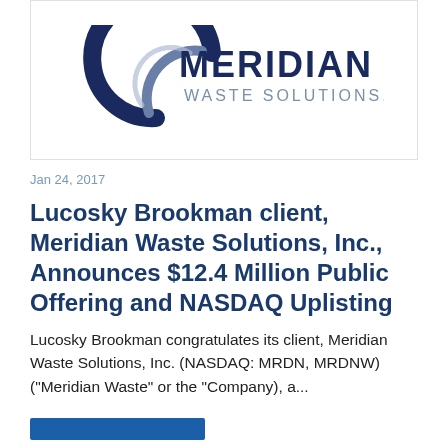[Figure (logo): Meridian Waste Solutions, Inc. logo with circular blue swoosh graphic and company name text]
Jan 24, 2017
Lucosky Brookman client, Meridian Waste Solutions, Inc., Announces $12.4 Million Public Offering and NASDAQ Uplisting
Lucosky Brookman congratulates its client, Meridian Waste Solutions, Inc. (NASDAQ: MRDN, MRDNW) ("Meridian Waste" or the "Company), a...